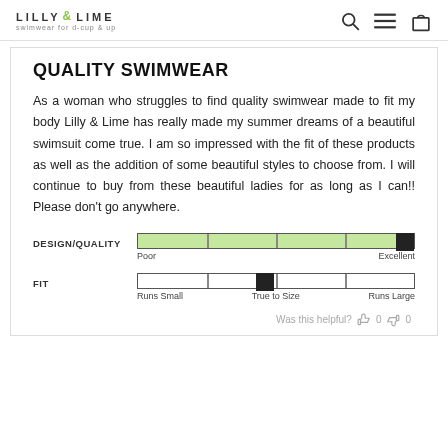LILLY & LIME — swimwear for d-cup & up
QUALITY SWIMWEAR
As a woman who struggles to find quality swimwear made to fit my body Lilly & Lime has really made my summer dreams of a beautiful swimsuit come true. I am so impressed with the fit of these products as well as the addition of some beautiful styles to choose from. I will continue to buy from these beautiful ladies for as long as I can!! Please don't go anywhere.
[Figure (other): DESIGN/QUALITY rating bar filled green nearly to end (Excellent), scale from Poor to Excellent]
[Figure (other): FIT rating bar with marker at center (True to Size), scale from Runs Small to Runs Large]
Was this helpful? 👍 0 👎 0